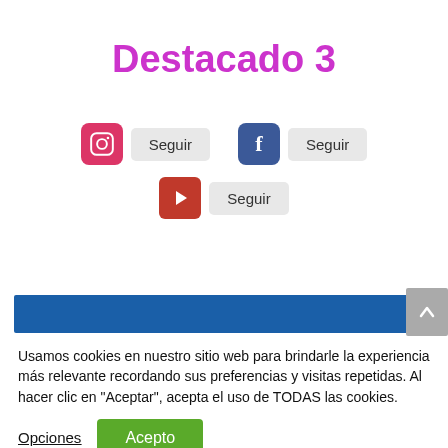Destacado 3
[Figure (infographic): Three social media follow buttons: Instagram (pink), Facebook (blue), YouTube (red), each with a 'Seguir' (Follow) button beside them]
Usamos cookies en nuestro sitio web para brindarle la experiencia más relevante recordando sus preferencias y visitas repetidas. Al hacer clic en "Aceptar", acepta el uso de TODAS las cookies.
Opciones   Acepto